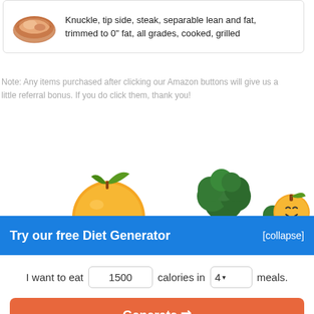[Figure (illustration): Food card with a grilled meat steak illustration and text: Knuckle, tip side, steak, separable lean and fat, trimmed to 0" fat, all grades, cooked, grilled]
Knuckle, tip side, steak, separable lean and fat, trimmed to 0" fat, all grades, cooked, grilled
Note: Any items purchased after clicking our Amazon buttons will give us a little referral bonus. If you do click them, thank you!
[Figure (illustration): Cartoon orange fruit with a green leaf stem illustration]
[Figure (illustration): Cartoon broccoli and smiling orange character illustration]
Try our free Diet Generator
[collapse]
I want to eat 1500 calories in 4 meals.
Generate